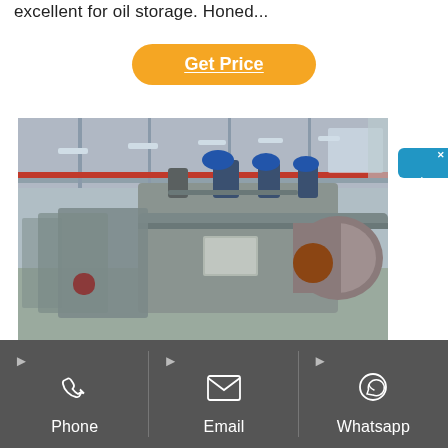excellent for oil storage. Honed...
Get Price
[Figure (photo): Industrial factory floor showing large grey hydraulic cylinder machinery and equipment lined up in a manufacturing facility with high ceiling and blue overhead cranes.]
Ck45 St52 Seamless Cold Drawn Hydraulic Cylinder...
Phone  Email  Whatsapp